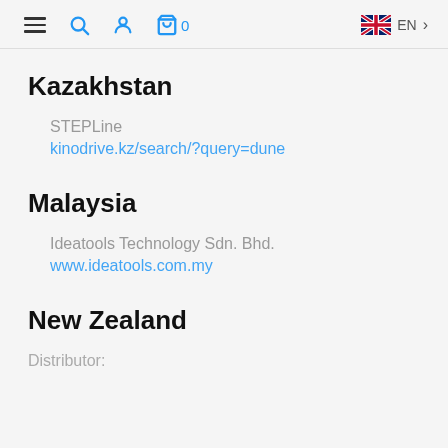Navigation bar with hamburger menu, search, user, cart (0), UK flag EN language selector
Kazakhstan
STEPLine
kinodrive.kz/search/?query=dune
Malaysia
Ideatools Technology Sdn. Bhd.
www.ideatools.com.my
New Zealand
Distributor: